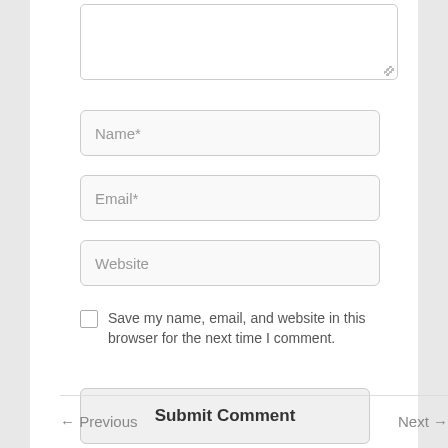[Figure (screenshot): Textarea input field (comment box) with resize handle at bottom right]
Name*
Email*
Website
Save my name, email, and website in this browser for the next time I comment.
Submit Comment
← Previous    Next →